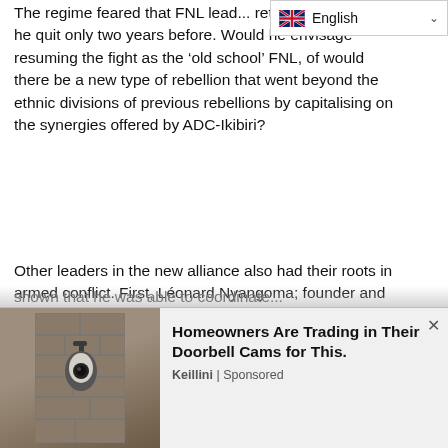The regime feared that FNL lead... return to the maquis he quit only two years before. Would he envisage resuming the fight as the ‘old school’ FNL, of would there be a new type of rebellion that went beyond the ethnic divisions of previous rebellions by capitalising on the synergies offered by ADC-Ikibiri?
Other leaders in the new alliance also had their roots in armed conflict. First, Léonard Nyangoma; founder and leader of the CNDD after the death of Ndadaye – (until he was pushed aside by Bosco Ndayikengurukiye, who in 2001 was replaced by Nkurunziza.)
The existing UPD leaders then fled the country. Their supposed leader, Hussein Rajabu, was in prison, but he had shown that he was able to coordinate...
[Figure (screenshot): Advertisement overlay at bottom of page. Left side shows a photo of a wall-mounted lamp/camera device against a stone wall. Right side shows ad text: 'Homeowners Are Trading in Their Doorbell Cams for This.' by Keillini | Sponsored, with a close (x) button.]